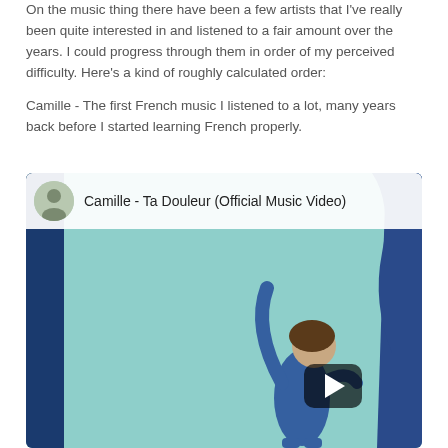On the music thing there have been a few artists that I've really been quite interested in and listened to a fair amount over the years. I could progress through them in order of my perceived difficulty. Here's a kind of roughly calculated order:
Camille - The first French music I listened to a lot, many years back before I started learning French properly.
[Figure (screenshot): YouTube video thumbnail for 'Camille - Ta Douleur (Official Music Video)'. Shows a person with raised arms against a light teal background, with a dark blue pillar on the left and a blue fabric/ribbon on the right. A YouTube play button is visible in the center-right area. The top bar shows the channel avatar and video title.]